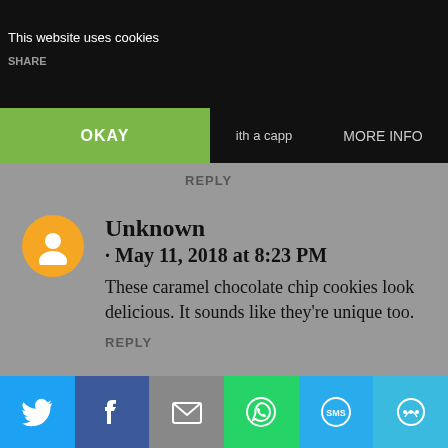This website uses cookies
SHARE
OKAY   ith a capp   MORE INFO
REPLY
Unknown · May 11, 2018 at 8:23 PM
These caramel chocolate chip cookies look delicious. It sounds like they're unique too.
REPLY
Amanda Rosson · May 12, 2018 at 1:45 AM